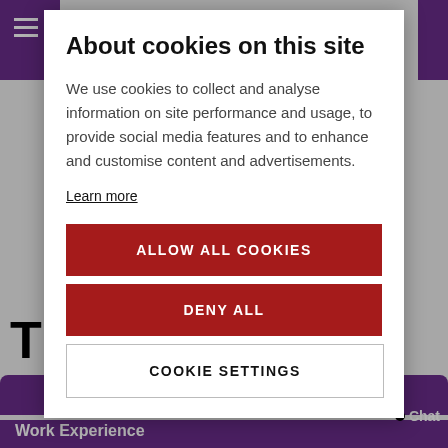About cookies on this site
We use cookies to collect and analyse information on site performance and usage, to provide social media features and to enhance and customise content and advertisements.
Learn more
ALLOW ALL COOKIES
DENY ALL
COOKIE SETTINGS
Work Experience
Chat